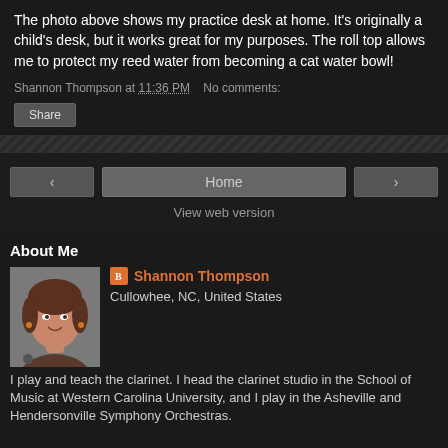The photo above shows my practice desk at home. It's originally a child's desk, but it works great for my purposes. The roll top allows me to protect my reed water from becoming a cat water bowl!
Shannon Thompson at 11:36 PM   No comments:
[Figure (screenshot): Share button]
[Figure (screenshot): Navigation bar with left arrow, Home button, right arrow, and View web version link]
About Me
[Figure (photo): Profile photo of Shannon Thompson, a woman with brown hair, smiling]
Shannon Thompson
Cullowhee, NC, United States
I play and teach the clarinet. I head the clarinet studio in the School of Music at Western Carolina University, and I play in the Asheville and Hendersonville Symphony Orchestras.